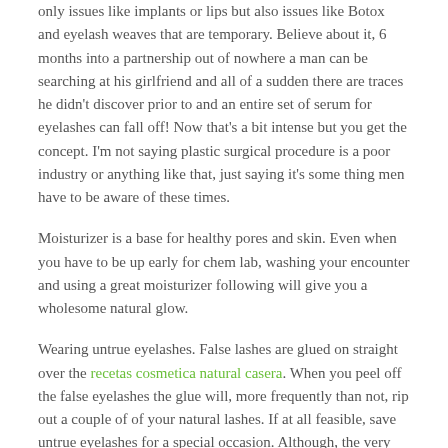only issues like implants or lips but also issues like Botox and eyelash weaves that are temporary. Believe about it, 6 months into a partnership out of nowhere a man can be searching at his girlfriend and all of a sudden there are traces he didn't discover prior to and an entire set of serum for eyelashes can fall off! Now that's a bit intense but you get the concept. I'm not saying plastic surgical procedure is a poor industry or anything like that, just saying it's some thing men have to be aware of these times.
Moisturizer is a base for healthy pores and skin. Even when you have to be up early for chem lab, washing your encounter and using a great moisturizer following will give you a wholesome natural glow.
Wearing untrue eyelashes. False lashes are glued on straight over the recetas cosmetica natural casera. When you peel off the false eyelashes the glue will, more frequently than not, rip out a couple of of your natural lashes. If at all feasible, save untrue eyelashes for a special occasion. Although, the very best way to make eyelashes develop is to avoid using them